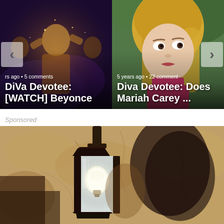[Figure (screenshot): Carousel of two article cards. Left card shows Beyonce performing on stage with text overlay: 'rs ago • 5 comments' and title 'DiVa Devotee: [WATCH] Beyonce'. Right card shows Mariah Carey with text overlay: '5 years ago • 22 comments' and title 'Diva Devotee: Does Mariah Carey ...'. Navigation arrows (< and >) on left and right edges.]
Sponsored
[Figure (photo): Close-up photo of a vintage outdoor wall lantern/light fixture mounted on a textured stucco wall. The lantern has a dark metal frame with a glass panel and a visible light bulb inside.]